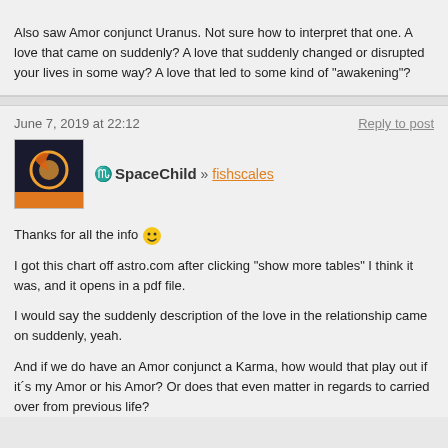Also saw Amor conjunct Uranus. Not sure how to interpret that one. A love that came on suddenly? A love that suddenly changed or disrupted your lives in some way? A love that led to some kind of "awakening"?
June 7, 2019 at 22:12
Reply to post
SpaceChild » fishscales
Thanks for all the info 😊
I got this chart off astro.com after clicking "show more tables" I think it was, and it opens in a pdf file.
I would say the suddenly description of the love in the relationship came on suddenly, yeah.
And if we do have an Amor conjunct a Karma, how would that play out if it´s my Amor or his Amor? Or does that even matter in regards to carried over from previous life?